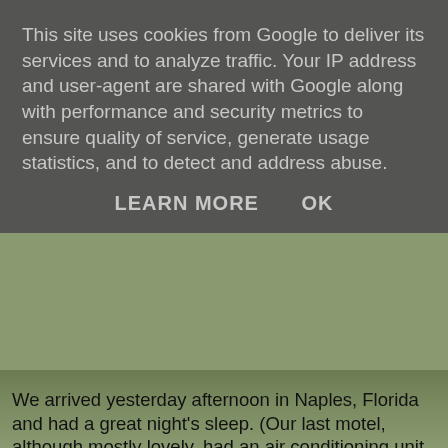This site uses cookies from Google to deliver its services and to analyze traffic. Your IP address and user-agent are shared with Google along with performance and security metrics to ensure quality of service, generate usage statistics, and to detect and address abuse.
LEARN MORE   OK
We arrived yesterday afternoon in Naples, Florida and had a great night's sleep. (Our last motel, although mostly lovely, had an air conditioning unit that sounded like Concorde preparing to take off. Once a night would have been fine, but every 20 minutes was pushing it a little.) There was an Ihop right on our doorstep so we had an enormous American breakfast before setting out this morning. Our first destination was the beautiful Naples Botanical Garden. I recognised lots of the plants growing in the flower beds, but in England they are all sold for indoor use only. The best thing though was a temporary life sized dinosaur display. They were incredibly lifelike and they all moved and growled very convincingly. The t rex was very scary and I am